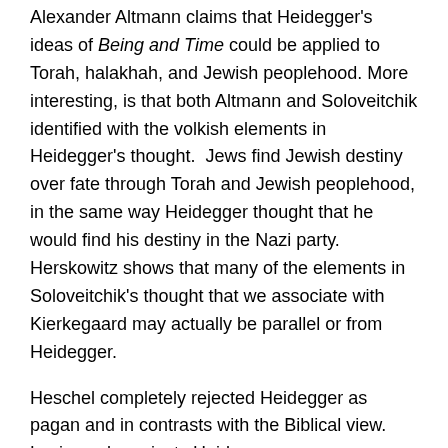Alexander Altmann claims that Heidegger's ideas of Being and Time could be applied to Torah, halakhah, and Jewish peoplehood. More interesting, is that both Altmann and Soloveitchik identified with the volkish elements in Heidegger's thought.  Jews find Jewish destiny over fate through Torah and Jewish peoplehood, in the same way Heidegger thought that he would find his destiny in the Nazi party. Herskowitz shows that many of the elements in Soloveitchik's thought that we associate with Kierkegaard may actually be parallel or from Heidegger.
Heschel completely rejected Heidegger as pagan and in contrasts with the Biblical view. Levinas also rejects Heidegger as pagan compared to the Jewish ethical approach, being is evil and the goal is to be otherwise than being. The demand of the face of the stranger breaks any wallowing in Being.